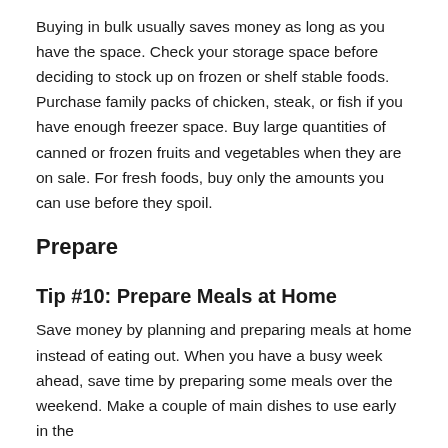Buying in bulk usually saves money as long as you have the space. Check your storage space before deciding to stock up on frozen or shelf stable foods. Purchase family packs of chicken, steak, or fish if you have enough freezer space. Buy large quantities of canned or frozen fruits and vegetables when they are on sale. For fresh foods, buy only the amounts you can use before they spoil.
Prepare
Tip #10: Prepare Meals at Home
Save money by planning and preparing meals at home instead of eating out. When you have a busy week ahead, save time by preparing some meals over the weekend. Make a couple of main dishes to use early in the